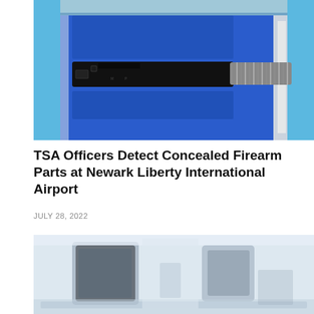[Figure (photo): Photo of firearm parts (gun slide and recoil spring) laid out in a blue padded carrying case, photographed by TSA officers at Newark Liberty International Airport.]
TSA Officers Detect Concealed Firearm Parts at Newark Liberty International Airport
JULY 28, 2022
[Figure (photo): Faded/watermarked photo of TSA airport security checkpoint area with screening equipment visible.]